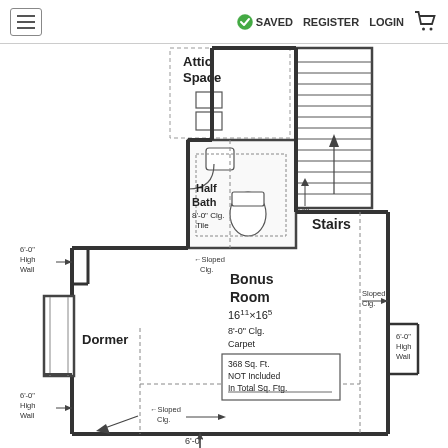≡  ✓ SAVED  REGISTER  LOGIN  🛒
[Figure (engineering-diagram): Architectural floor plan of a second floor / bonus room level showing: Attic Space at top, Half Bath (8'-0" Clg., Tile) with toilet and sink symbols, Stairs with DN arrow, Bonus Room 16^11 x 16^5, 8'-0" Clg., Carpet, 368 Sq. Ft. NOT Included In Total Sq. Ftg., Dormer on the left side, multiple Sloped Clg. annotations with arrows, and 6'-0" High Wall notations on left and right sides, and a 6'-0" dimension at the bottom with an arrow.]